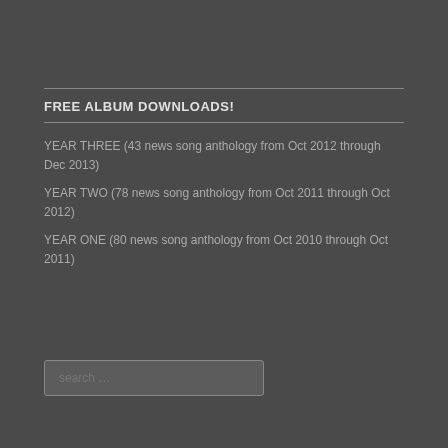FREE ALBUM DOWNLOADS!
YEAR THREE (43 news song anthology from Oct 2012 through Dec 2013)
YEAR TWO (78 news song anthology from Oct 2011 through Oct 2012)
YEAR ONE (80 news song anthology from Oct 2010 through Oct 2011)